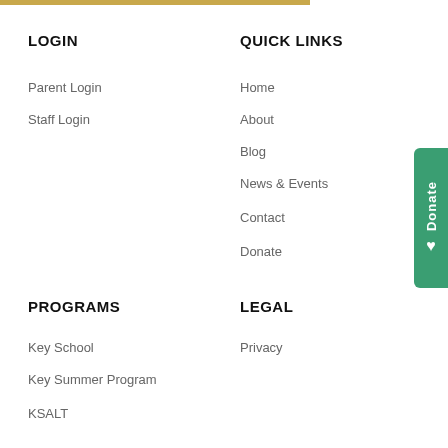LOGIN
Parent Login
Staff Login
QUICK LINKS
Home
About
Blog
News & Events
Contact
Donate
PROGRAMS
Key School
Key Summer Program
KSALT
LEGAL
Privacy